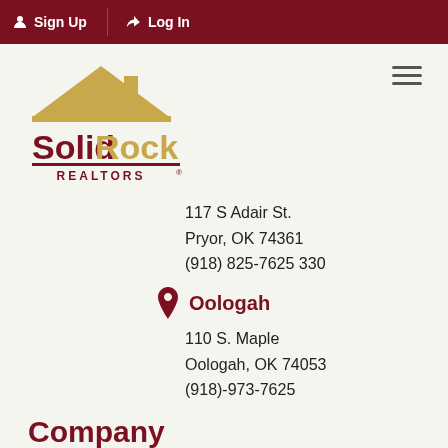Sign Up  Log In
[Figure (logo): Solid Rock Realtors logo with house icon]
117 S Adair St.
Pryor, OK 74361
(918) 825-7625 330
Oologah
110 S. Maple
Oologah, OK 74053
(918)-973-7625
[Figure (illustration): Facebook and LinkedIn social media icons]
Company